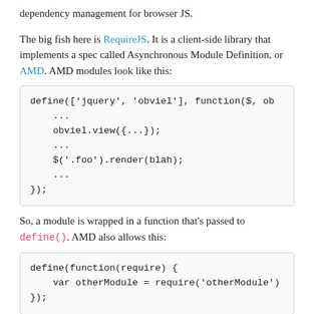dependency management for browser JS.
The big fish here is RequireJS. It is a client-side library that implements a spec called Asynchronous Module Definition, or AMD. AMD modules look like this:
define(['jquery', 'obviel'], function($, ob
    ...
    obviel.view({...});
    ...
    $('.foo').render(blah);
    ...
});
So, a module is wrapped in a function that's passed to define(). AMD also allows this:
define(function(require) {
    var otherModule = require('otherModule')
});